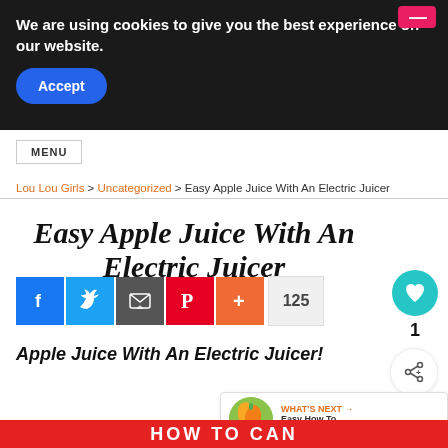We are using cookies to give you the best experience on our website. [Accept button]
MENU
Lou Lou Girls > Uncategorized > Easy Apple Juice With An Electric Juicer
Easy Apple Juice With An Electric Juicer
[Figure (other): Social share buttons: Facebook, Twitter, Email, Pinterest, More (+). Share count: 125. Love button (teal heart). Count: 1. Share icon button.]
Apple Juice With An Electric Juicer!
WHAT'S NEXT → Easy How To Can Grape...
Privacy · Terms
HOW TO CAN